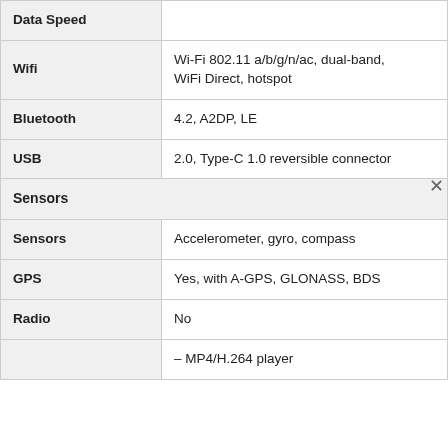| Feature | Value |
| --- | --- |
| Data Speed |  |
| Wifi | Wi-Fi 802.11 a/b/g/n/ac, dual-band, WiFi Direct, hotspot |
| Bluetooth | 4.2, A2DP, LE |
| USB | 2.0, Type-C 1.0 reversible connector |
| Sensors |  |
| Sensors | Accelerometer, gyro, compass |
| GPS | Yes, with A-GPS, GLONASS, BDS |
| Radio | No |
|  | – MP4/H.264 player |